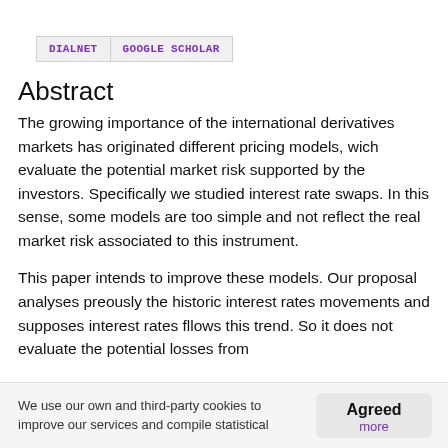DIALNET   GOOGLE SCHOLAR
Abstract
The growing importance of the international derivatives markets has originated different pricing models, wich evaluate the potential market risk supported by the investors. Specifically we studied interest rate swaps. In this sense, some models are too simple and not reflect the real market risk associated to this instrument.
This paper intends to improve these models. Our proposal analyses preously the historic interest rates movements and supposes interest rates fllows this trend. So it does not evaluate the potential losses from
We use our own and third-party cookies to improve our services and compile statistical
Agreed
more